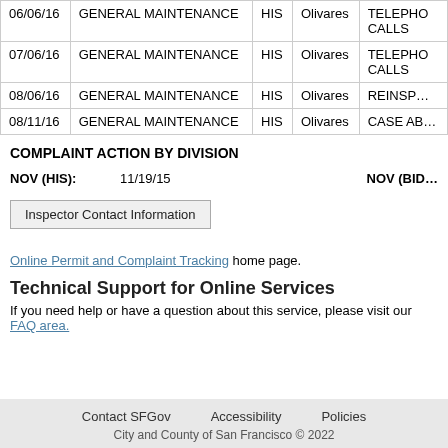| Date | Type | Div | Inspector | Action |
| --- | --- | --- | --- | --- |
| 06/06/16 | GENERAL MAINTENANCE | HIS | Olivares | TELEPHO… CALLS |
| 07/06/16 | GENERAL MAINTENANCE | HIS | Olivares | TELEPHO… CALLS |
| 08/06/16 | GENERAL MAINTENANCE | HIS | Olivares | REINSP… |
| 08/11/16 | GENERAL MAINTENANCE | HIS | Olivares | CASE AB… |
COMPLAINT ACTION BY DIVISION
NOV (HIS):    11/19/15    NOV (BID…
Inspector Contact Information
Online Permit and Complaint Tracking home page.
Technical Support for Online Services
If you need help or have a question about this service, please visit our FAQ area.
Contact SFGov   Accessibility   Policies
City and County of San Francisco © 2022